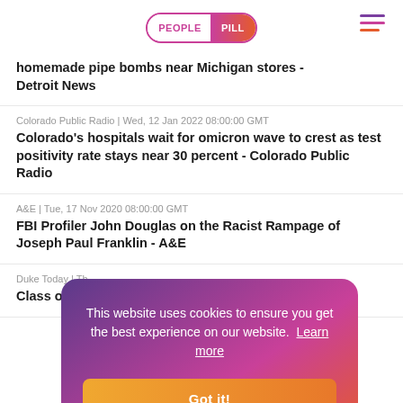PEOPLE PILL
homemade pipe bombs near Michigan stores - Detroit News
Colorado Public Radio | Wed, 12 Jan 2022 08:00:00 GMT
Colorado's hospitals wait for omicron wave to crest as test positivity rate stays near 30 percent - Colorado Public Radio
A&E | Tue, 17 Nov 2020 08:00:00 GMT
FBI Profiler John Douglas on the Racist Rampage of Joseph Paul Franklin - A&E
Duke Today | Th...
Class of 2022... Today - Duke...
This website uses cookies to ensure you get the best experience on our website. Learn more
Got it!